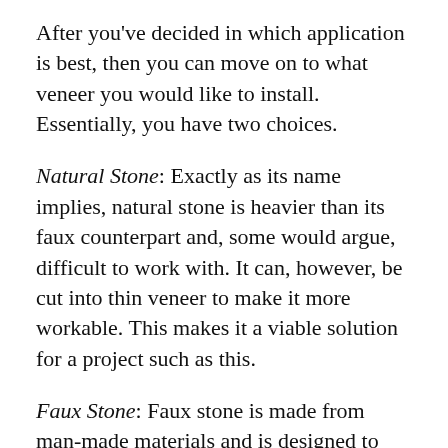After you've decided in which application is best, then you can move on to what veneer you would like to install. Essentially, you have two choices.
Natural Stone: Exactly as its name implies, natural stone is heavier than its faux counterpart and, some would argue, difficult to work with. It can, however, be cut into thin veneer to make it more workable. This makes it a viable solution for a project such as this.
Faux Stone: Faux stone is made from man-made materials and is designed to look just like the real thing (some even being cast from actual